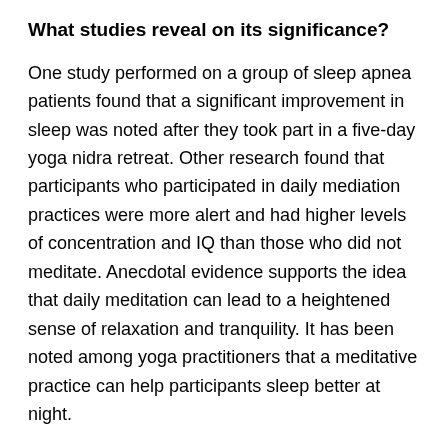What studies reveal on its significance?
One study performed on a group of sleep apnea patients found that a significant improvement in sleep was noted after they took part in a five-day yoga nidra retreat. Other research found that participants who participated in daily mediation practices were more alert and had higher levels of concentration and IQ than those who did not meditate. Anecdotal evidence supports the idea that daily meditation can lead to a heightened sense of relaxation and tranquility. It has been noted among yoga practitioners that a meditative practice can help participants sleep better at night.
When to practice yoga nidra?
Yoga Nidra is sometimes referred to as “flow yoga nidra” or “awareness yoga nidra.” It can be practiced anytime of the day